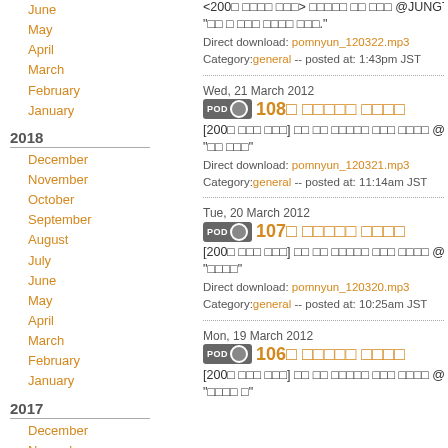June
May
April
March
February
January
2018
December
November
October
September
August
July
June
May
April
March
February
January
2017
December
November
October
September
August
July
<200□ □□□□ □□□> □□□□□ □□ □□□ @JUNGTO □ □□□
"□□ □ □□□ □□□□ □□□."
Direct download: pomnyun_120322.mp3
Category:general -- posted at: 1:43pm JST
Wed, 21 March 2012
108□ □□□□□ □□□□
[200□ □□□ □□□] □□ □□ □□□□□ □□□ □□□□ @jungtog □□
"□□ □□□"
Direct download: pomnyun_120321.mp3
Category:general -- posted at: 11:14am JST
Tue, 20 March 2012
107□ □□□□□ □□□□
[200□ □□□ □□□] □□ □□ □□□□□ □□□ □□□□ @jungtog □□
"□□□□"
Direct download: pomnyun_120320.mp3
Category:general -- posted at: 10:25am JST
Mon, 19 March 2012
106□ □□□□□ □□□□
[200□ □□□ □□□] □□ □□ □□□□□ □□□ □□□□ @jungtog □□
"□□□□ □"